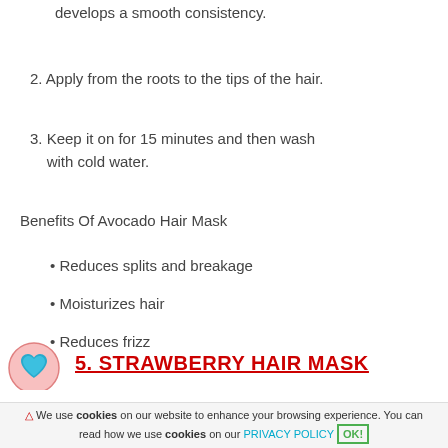develops a smooth consistency.
2. Apply from the roots to the tips of the hair.
3. Keep it on for 15 minutes and then wash with cold water.
Benefits Of Avocado Hair Mask
Reduces splits and breakage
Moisturizes hair
Reduces frizz
5. STRAWBERRY HAIR MASK
We use cookies on our website to enhance your browsing experience. You can read how we use cookies on our PRIVACY POLICY OK!